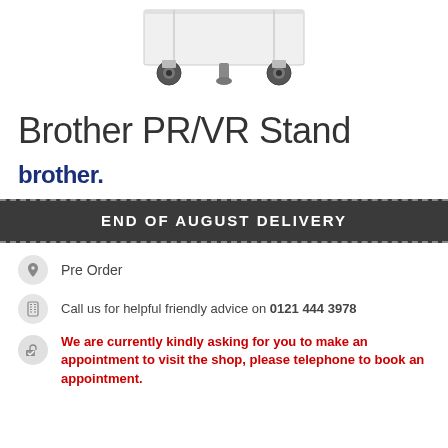[Figure (photo): Partial bottom view of Brother PR/VR Stand showing wheels and adjustable feet on a white background]
Brother PR/VR Stand
[Figure (logo): Brother logo in dark navy blue bold text with period]
END OF AUGUST DELIVERY
Pre Order
Call us for helpful friendly advice on 0121 444 3978
We are currently kindly asking for you to make an appointment to visit the shop, please telephone to book an appointment.